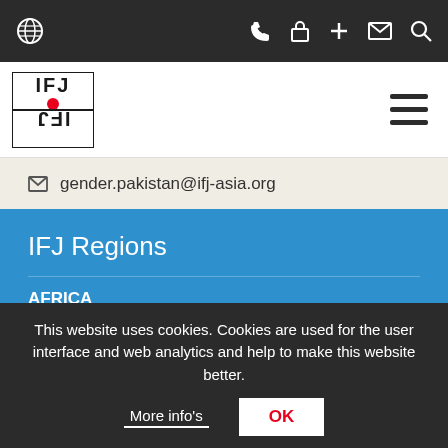[Figure (screenshot): Top navigation bar with globe icon on left and phone, lock, plus, mail, search icons on right, dark background]
[Figure (logo): IFJ/FIP logo in black and red on white background, with hamburger menu icon on right]
gender.pakistan@ifj-asia.org
IFJ Regions
AFRICA
EUROPE
LATIN AMERICA AND THE CARIBBEAN
This website uses cookies. Cookies are used for the user interface and web analytics and help to make this website better.